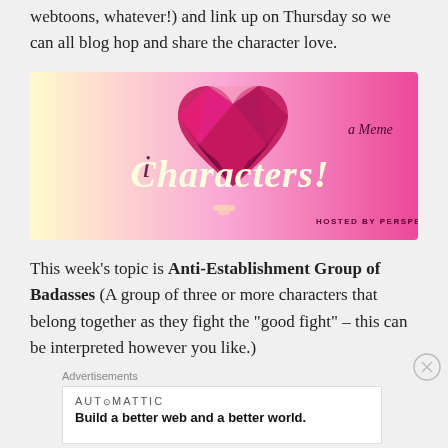webtoons, whatever!) and link up on Thursday so we can all blog hop and share the character love.
[Figure (illustration): I Heart Characters! – A Meme banner with a geometric pink gem heart, script text reading 'i Characters! a Meme', hosted by perspectiveofawriter.com, gradient background from yellow to pink]
This week's topic is Anti-Establishment Group of Badasses (A group of three or more characters that belong together as they fight the "good fight" – this can be interpreted however you like.)
Advertisements
AUTOMATTIC
Build a better web and a better world.